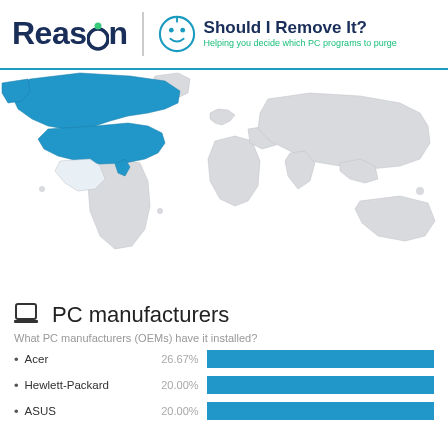Reason | Should I Remove It? Helping you decide which PC programs to purge
[Figure (map): World map with USA and Canada highlighted in blue, rest of world in light gray]
PC manufacturers
What PC manufacturers (OEMs) have it installed?
Acer  26.67%
Hewlett-Packard  20.00%
ASUS  20.00%